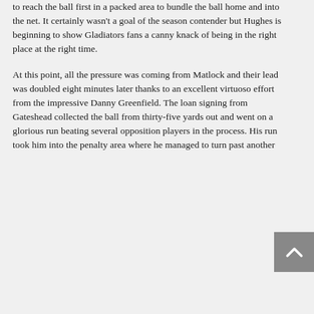to reach the ball first in a packed area to bundle the ball home and into the net. It certainly wasn't a goal of the season contender but Hughes is beginning to show Gladiators fans a canny knack of being in the right place at the right time.
At this point, all the pressure was coming from Matlock and their lead was doubled eight minutes later thanks to an excellent virtuoso effort from the impressive Danny Greenfield. The loan signing from Gateshead collected the ball from thirty-five yards out and went on a glorious run beating several opposition players in the process. His run took him into the penalty area where he managed to turn past another
[Figure (other): A grey scroll-to-top button with a white upward-pointing chevron/arrow icon, positioned at the bottom-right of the page.]